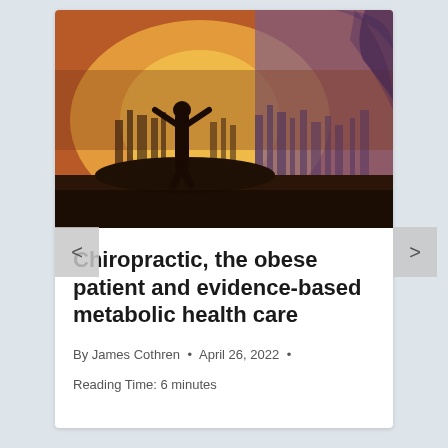[Figure (photo): A person silhouetted against a warm golden sunset sky, arms raised in a victory pose, standing on rocky ground with a city skyline visible in the background. Double-exposure style with a face silhouette overlaid.]
Chiropractic, the obese patient and evidence-based metabolic health care
By James Cothren • April 26, 2022 • Reading Time: 6 minutes